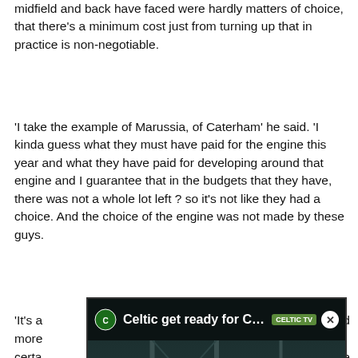midfield and back have faced were hardly matters of choice, that there's a minimum cost just from turning up that in practice is non-negotiable.
'I take the example of Marussia, of Caterham' he said. 'I kinda guess what they must have paid for the engine this year and what they have paid for developing around that engine and I guarantee that in the budgets that they have, there was not a whole lot left ? so it's not like they had a choice. And the choice of the engine was not made by these guys.
[Figure (screenshot): Embedded video player overlay showing 'Celtic get ready for Champions L...' with Celtic TV badge and close button, dark building/scaffold background with play button]
'It's a ... end more ... certainly ... ne fact th... tor (Malo... ar they'... rly excite... me, as an... t